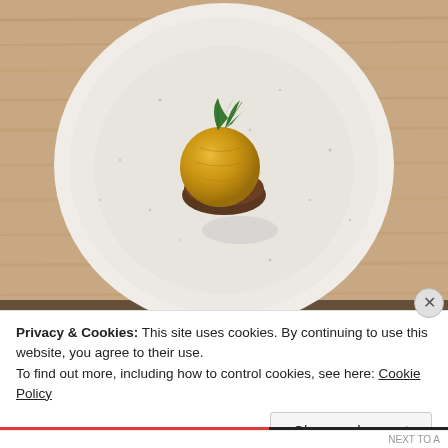[Figure (photo): Overhead view of a white speckled ceramic plate on a wooden table, featuring a small dark chocolate dessert base topped with a golden-yellow sphere garnished with two green mint/herb leaves.]
Privacy & Cookies: This site uses cookies. By continuing to use this website, you agree to their use.
To find out more, including how to control cookies, see here: Cookie Policy
Close and accept